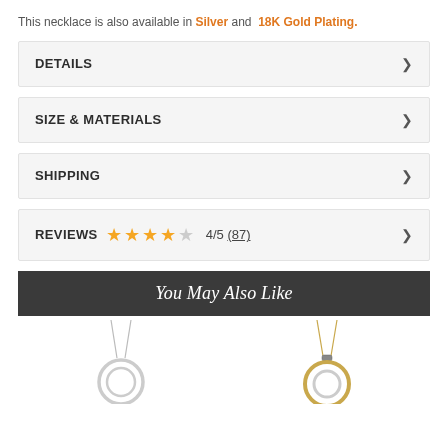This necklace is also available in Silver and 18K Gold Plating.
DETAILS
SIZE & MATERIALS
SHIPPING
REVIEWS  4/5 (87)
You May Also Like
[Figure (photo): Two necklace product thumbnails side by side - left: silver circular pendant necklace, right: gold tone circular pendant necklace]